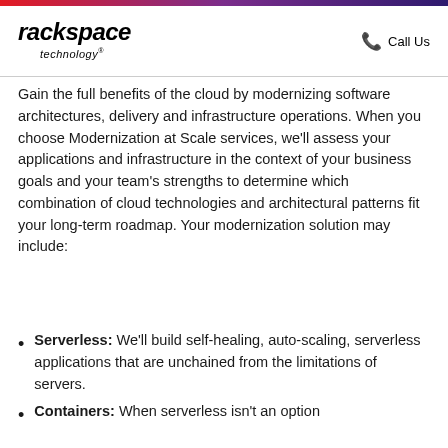rackspace technology | Call Us
Gain the full benefits of the cloud by modernizing software architectures, delivery and infrastructure operations. When you choose Modernization at Scale services, we'll assess your applications and infrastructure in the context of your business goals and your team's strengths to determine which combination of cloud technologies and architectural patterns fit your long-term roadmap. Your modernization solution may include:
Serverless: We'll build self-healing, auto-scaling, serverless applications that are unchained from the limitations of servers.
Containers: When serverless isn't an option